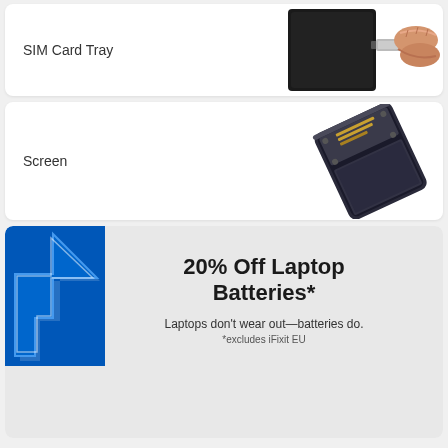SIM Card Tray
[Figure (photo): Hand inserting or removing a SIM card tray from a smartphone]
Screen
[Figure (photo): Smartphone screen/display removed from the chassis, showing the internal components and flex cables]
[Figure (infographic): 20% Off Laptop Batteries promotional banner with blue arrow graphic. Text: '20% Off Laptop Batteries*', 'Laptops don't wear out—batteries do.', '*excludes iFixit EU']